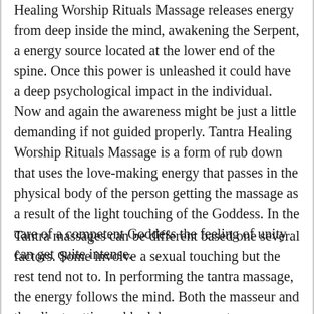Healing Worship Rituals Massage releases energy from deep inside the mind, awakening the Serpent, a energy source located at the lower end of the spine. Once this power is unleashed it could have a deep psychological impact in the individual. Now and again the awareness might be just a little demanding if not guided properly. Tantra Healing Worship Rituals Massage is a form of rub down that uses the love-making energy that passes in the physical body of the person getting the massage as a result of the light touching of the Goddess. In the care of a competent Goddess the feeling of unity can get quite intense.
Tantra massages can be different based one several factors. Some involve a sexual touching but the rest tend not to. In performing the tantra massage, the energy follows the mind. Both the masseur and the client getting rubbed down generate a subconscious and emotional connection that will guide them to a perfect